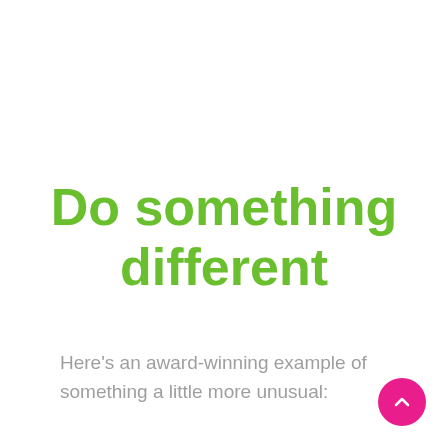Do something different
Here's an award-winning example of something a little more unusual: